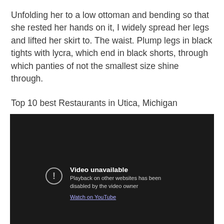Unfolding her to a low ottoman and bending so that she rested her hands on it, I widely spread her legs and lifted her skirt to. The waist. Plump legs in black tights with lycra, which end in black shorts, through which panties of not the smallest size shine through.
Top 10 best Restaurants in Utica, Michigan
[Figure (screenshot): Embedded YouTube video player showing 'Video unavailable' message. Dark background with a circular exclamation icon, text reading 'Video unavailable', 'Playback on other websites has been disabled by the video owner', and a 'Watch on YouTube' link.]